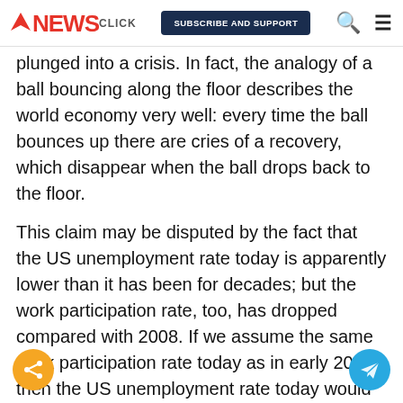NEWSCLICK | SUBSCRIBE AND SUPPORT
plunged into a crisis. In fact, the analogy of a ball bouncing along the floor describes the world economy very well: every time the ball bounces up there are cries of a recovery, which disappear when the ball drops back to the floor.
This claim may be disputed by the fact that the US unemployment rate today is apparently lower than it has been for decades; but the work participation rate, too, has dropped compared with 2008. If we assume the same work participation rate today as in early 2008, then the US unemployment rate today would be 8% and not 4%, which is the official figure.
It is in this context of crisis and unemployment th...